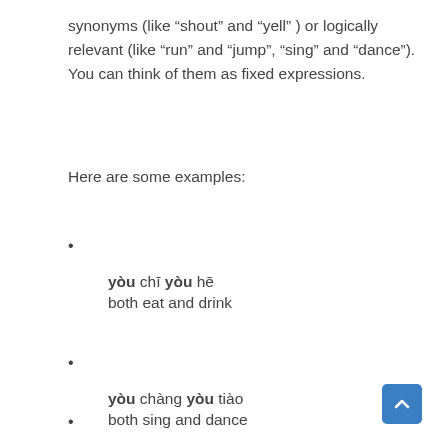synonyms (like “shout” and “yell” ) or logically relevant (like “run” and “jump”, “sing” and “dance”). You can think of them as fixed expressions.
Here are some examples:
yòu chī yòu hē
both eat and drink
yòu chàng yòu tiào
both sing and dance
yòu kū yòu nào